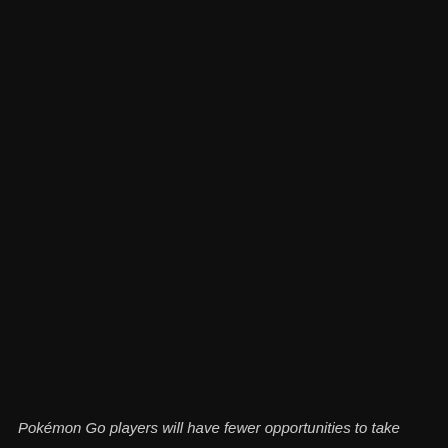[Figure (photo): Nearly entirely black/dark image, possibly a dark screenshot or video frame with very low lighting]
Pokémon Go players will have fewer opportunities to take